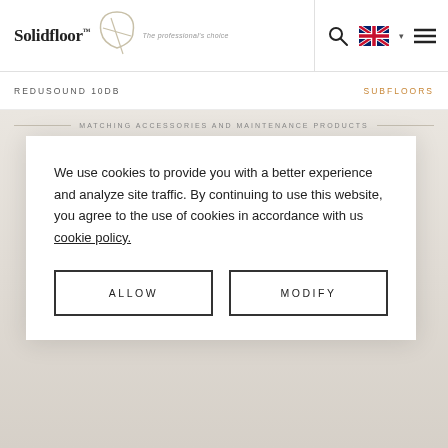Solidfloor™ The professional's choice
REDUSOUND 10DB
SUBFLOORS
MATCHING ACCESSORIES AND MAINTENANCE PRODUCTS
We use cookies to provide you with a better experience and analyze site traffic. By continuing to use this website, you agree to the use of cookies in accordance with us cookie policy.
ALLOW
MODIFY